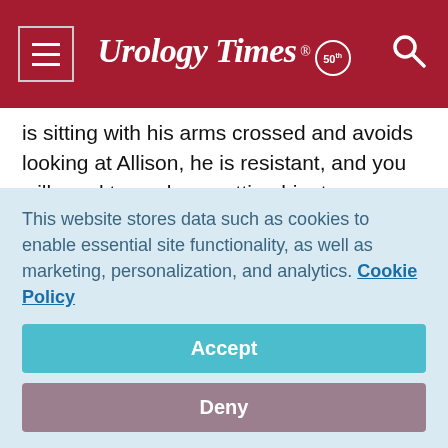Urology Times 50
is sitting with his arms crossed and avoids looking at Allison, he is resistant, and you will need to work on getting him to open up. Validate him and his opinion and remind him the goal is a solution that works for each of them and the practice. Ask him to share his idea with Allison. Clarify what it is and then ask her opinion about his idea. The body language will change as Kevin uncrosses his arms and speaks directly to Allison. Your role is to guide the discussion as they begin to work together to solve the
This website stores data such as cookies to enable essential site functionality, as well as marketing, personalization, and analytics. Cookie Policy
Accept
Deny